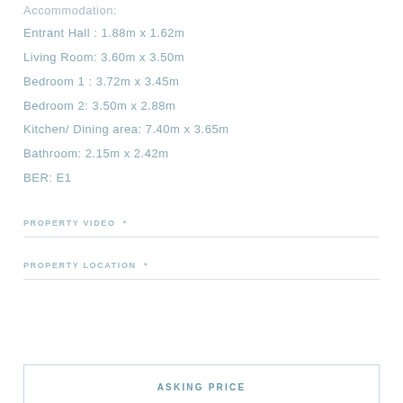Accommodation:
Entrant Hall : 1.88m x 1.62m
Living Room: 3.60m x 3.50m
Bedroom 1 : 3.72m x 3.45m
Bedroom 2: 3.50m x 2.88m
Kitchen/ Dining area: 7.40m x 3.65m
Bathroom: 2.15m x 2.42m
BER: E1
PROPERTY VIDEO *
PROPERTY LOCATION *
ASKING PRICE